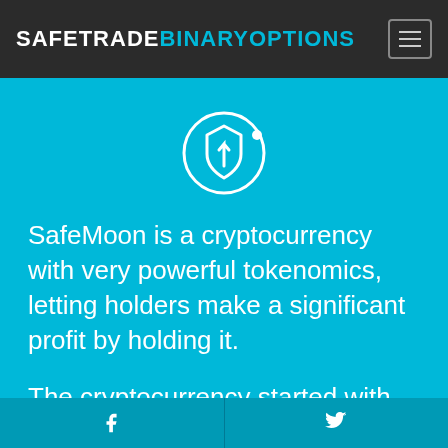SAFETRADEBINARYOPTIONS
[Figure (logo): SafeMoon circular shield logo with rocket icon and orbit ring, white on cyan background]
SafeMoon is a cryptocurrency with very powerful tokenomics, letting holders make a significant profit by holding it.
The cryptocurrency started with the tag of Memecoin but started to release its
f  [Twitter bird icon]